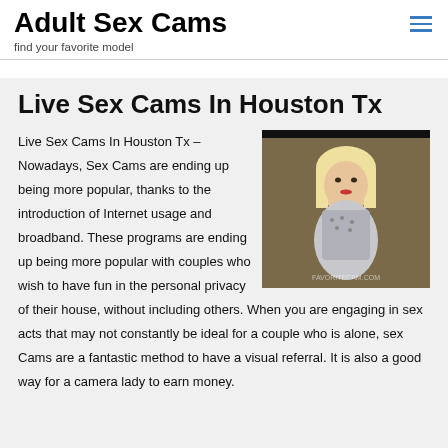Adult Sex Cams
find your favorite model
Live Sex Cams In Houston Tx
[Figure (photo): Blonde woman in lingerie, webcam screenshot with watermark]
Live Sex Cams In Houston Tx – Nowadays, Sex Cams are ending up being more popular, thanks to the introduction of Internet usage and broadband. These programs are ending up being more popular with couples who wish to have fun in the personal privacy of their house, without including others. When you are engaging in sex acts that may not constantly be ideal for a couple who is alone, sex Cams are a fantastic method to have a visual referral. It is also a good way for a camera lady to earn money.